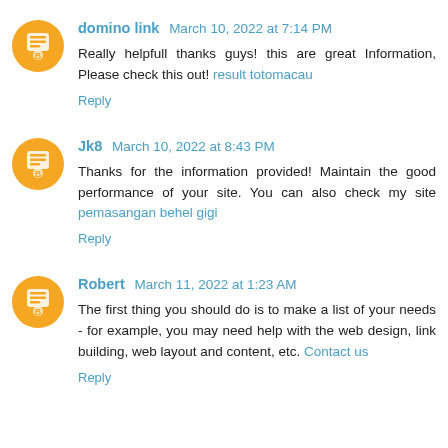domino link  March 10, 2022 at 7:14 PM
Really helpfull thanks guys! this are great Information, Please check this out! result totomacau
Reply
Jk8  March 10, 2022 at 8:43 PM
Thanks for the information provided! Maintain the good performance of your site. You can also check my site pemasangan behel gigi
Reply
Robert  March 11, 2022 at 1:23 AM
The first thing you should do is to make a list of your needs - for example, you may need help with the web design, link building, web layout and content, etc. Contact us
Reply